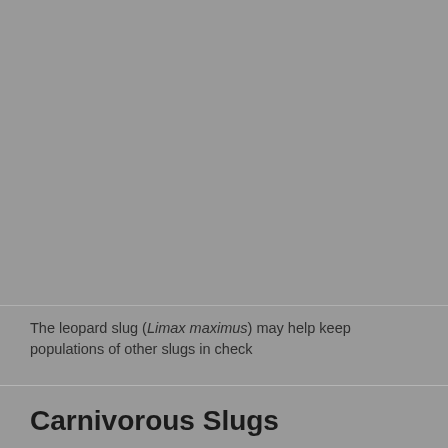[Figure (photo): Gray/placeholder image area representing a photograph of a leopard slug (Limax maximus)]
The leopard slug (Limax maximus) may help keep populations of other slugs in check
Carnivorous Slugs
Not all slugs are vegans. For instance, the leopard slug (Limax